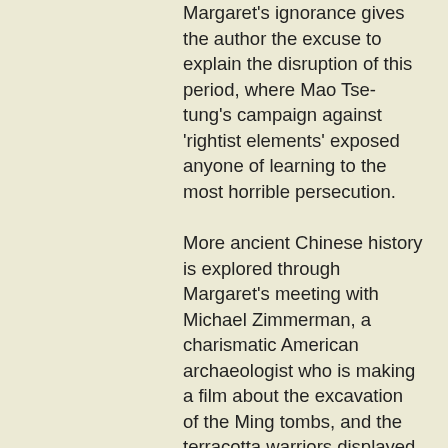Margaret's ignorance gives the author the excuse to explain the disruption of this period, where Mao Tse-tung's campaign against 'rightist elements' exposed anyone of learning to the most horrible persecution.
More ancient Chinese history is explored through Margaret's meeting with Michael Zimmerman, a charismatic American archaeologist who is making a film about the excavation of the Ming tombs, and the terracotta warriors displayed in Xi'an. Attractive and well informed about China